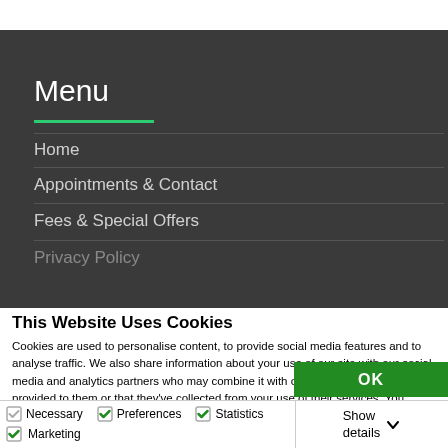Menu
Home
Appointments & Contact
Fees & Special Offers
Privacy Policy
This Website Uses Cookies
Cookies are used to personalise content, to provide social media features and to analyse traffic. We also share information about your use of our site with our social media and analytics partners who may combine it with other information that you've provided to them or that they've collected from your use of their services. You consent to our cookies if you continue to use our website.
OK
Necessary  Preferences  Statistics  Marketing  Show details